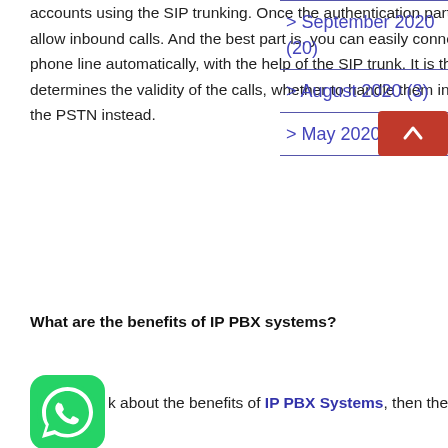accounts using the SIP trunking. Once the authentication part is over, PBX will allow inbound calls. And the best part is, you can easily connect to an external phone line automatically, with the help of the SIP trunk. It is the PBX that determines the validity of the calls, whether to handle them internally or shall use the PSTN instead.
What are the benefits of IP PBX systems?
k about the benefits of IP PBX Systems, then the list
[Figure (logo): WhatsApp green logo icon]
> September 2020 (20)
> August 2020 (3)
> May 2020 (3)